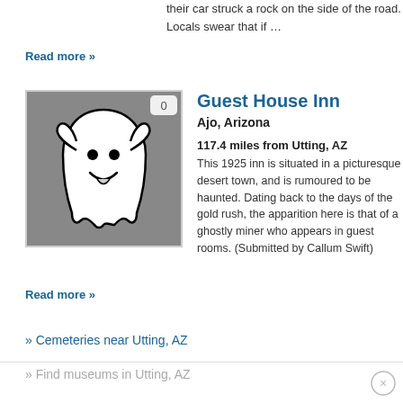their car struck a rock on the side of the road. Locals swear that if …
Read more »
[Figure (illustration): Ghost illustration — cartoon white ghost on gray background, with badge showing '0']
Guest House Inn
Ajo, Arizona
117.4 miles from Utting, AZ
This 1925 inn is situated in a picturesque desert town, and is rumoured to be haunted. Dating back to the days of the gold rush, the apparition here is that of a ghostly miner who appears in guest rooms. (Submitted by Callum Swift)
Read more »
» Cemeteries near Utting, AZ
» Find museums in Utting, AZ